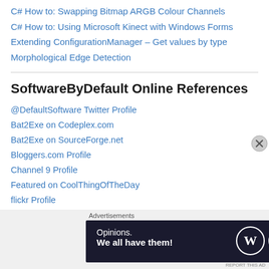C# How to: Swapping Bitmap ARGB Colour Channels
C# How to: Using Microsoft Kinect with Windows Forms
Extending ConfigurationManager – Get values by type
Morphological Edge Detection
SoftwareByDefault Online References
@DefaultSoftware Twitter Profile
Bat2Exe on Codeplex.com
Bat2Exe on SourceForge.net
Bloggers.com Profile
Channel 9 Profile
Featured on CoolThingOfTheDay
flickr Profile
Google+
Microsoft TouchDevelop Profile
[Figure (other): Advertisement banner with WordPress logo. Text reads 'Opinions. We all have them!' Dark navy background with white WordPress W logo circle and a secondary white circle logo.]